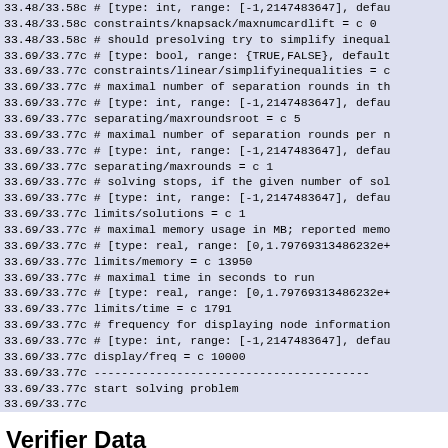Code block showing SCIP solver configuration parameters with timestamps 33.48/33.58 and 33.69/33.77
Verifier Data
ERROR: no interpretation found !